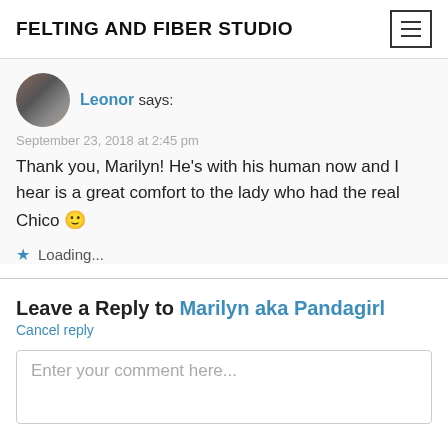FELTING AND FIBER STUDIO
Leonor says:
September 23, 2018 at 2:45 pm
Thank you, Marilyn! He's with his human now and I hear is a great comfort to the lady who had the real Chico 🙂
Loading...
Leave a Reply to Marilyn aka Pandagirl
Cancel reply
Enter your comment here...